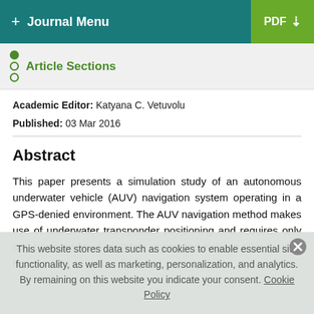+ Journal Menu | PDF
Article Sections
Academic Editor: Katyana C. Vetuvolu
Published: 03 Mar 2016
Abstract
This paper presents a simulation study of an autonomous underwater vehicle (AUV) navigation system operating in a GPS-denied environment. The AUV navigation method makes use of underwater transponder positioning and requires only one transponder. A multirate unscented Kalman filter is used to
This website stores data such as cookies to enable essential site functionality, as well as marketing, personalization, and analytics. By remaining on this website you indicate your consent. Cookie Policy